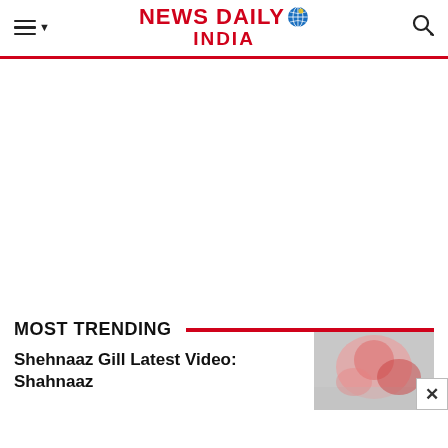NEWS DAILY INDIA
MOST TRENDING
Shehnaaz Gill Latest Video: Shahnaaz